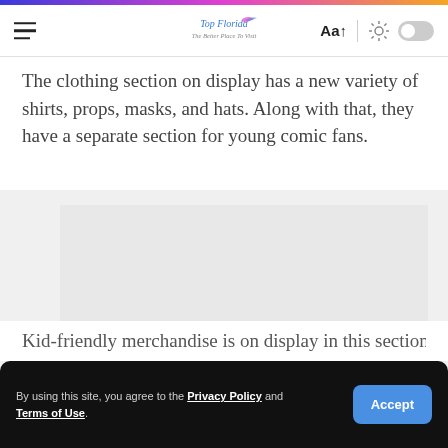Navigation bar with hamburger menu, logo, font control (Aa), divider, sun icon, and toggle
The clothing section on display has a new variety of shirts, props, masks, and hats. Along with that, they have a separate section for young comic fans.
[Figure (other): Advertisement placeholder area with a light gray background and a CLOSE button in the bottom right corner]
Kid-friendly merchandise is on display in this section, the
By using this site, you agree to the Privacy Policy and Terms of Use.